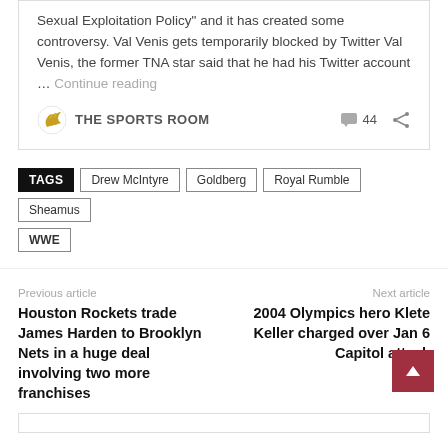Sexual Exploitation Policy" and it has created some controversy. Val Venis gets temporarily blocked by Twitter Val Venis, the former TNA star said that he had his Twitter account … Continue reading
THE SPORTS ROOM  44
TAGS: Drew McIntyre, Goldberg, Royal Rumble, Sheamus, WWE
Previous article
Houston Rockets trade James Harden to Brooklyn Nets in a huge deal involving two more franchises
Next article
2004 Olympics hero Klete Keller charged over Jan 6 Capitol attack